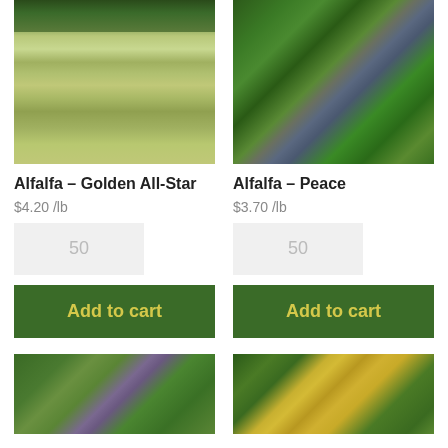[Figure (photo): Aerial/wide view of alfalfa meadow field with wildflowers and tree line in background]
[Figure (photo): Close-up of alfalfa plant with purple flowers and green leaves]
Alfalfa – Golden All-Star
Alfalfa – Peace
$4.20 /lb
$3.70 /lb
50
50
Add to cart
Add to cart
[Figure (photo): Close-up of alfalfa plant with purple/blue flowers]
[Figure (photo): Close-up of alfalfa plant with yellow flowers]